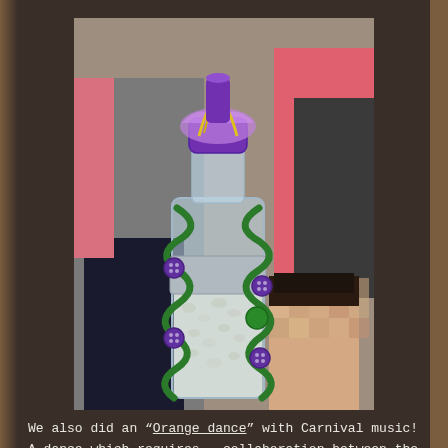[Figure (photo): A decorated plastic bottle used as a musical shaker instrument, wrapped with green pipe cleaner/wire in a spiral pattern with purple buttons attached. The bottle contains small white objects (likely beans or pebbles). It has a purple cap and colorful decorations at the top including yellow strings. Children are visible in the background, one wearing a red jacket. The face of a child on the right side is pixelated/blurred for privacy.]
We also did an “Orange dance” with Carnival music! A dance which requires  collaboration between the partners and is so much fun!!